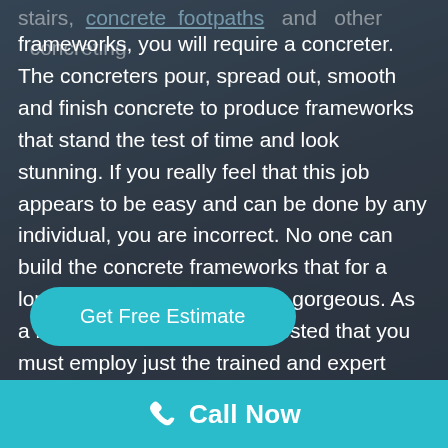stairs, concrete footpaths and other concreting frameworks, you will require a concreter. The concreters pour, spread out, smooth and finish concrete to produce frameworks that stand the test of time and look stunning. If you really feel that this job appears to be easy and can be done by any individual, you are incorrect. No one can build the concrete frameworks that for a long period of time and looks gorgeous. As a result, it is extremely suggested that you must employ just the trained and expert concreter for your concrete tasks.
Get Free Estimate
Call Now